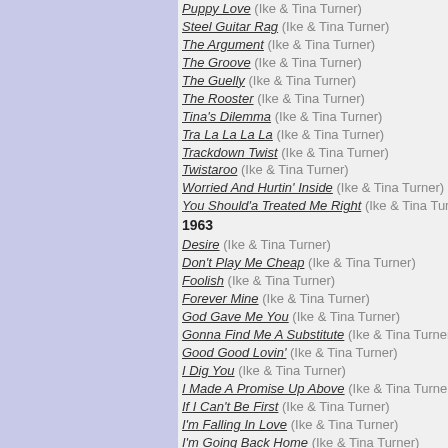Puppy Love (Ike & Tina Turner)
Steel Guitar Rag (Ike & Tina Turner)
The Argument (Ike & Tina Turner)
The Groove (Ike & Tina Turner)
The Guelly (Ike & Tina Turner)
The Rooster (Ike & Tina Turner)
Tina's Dilemma (Ike & Tina Turner)
Tra La La La La (Ike & Tina Turner)
Trackdown Twist (Ike & Tina Turner)
Twistaroo (Ike & Tina Turner)
Worried And Hurtin' Inside (Ike & Tina Turner)
You Should'a Treated Me Right (Ike & Tina Turner)
1963
Desire (Ike & Tina Turner)
Don't Play Me Cheap (Ike & Tina Turner)
Foolish (Ike & Tina Turner)
Forever Mine (Ike & Tina Turner)
God Gave Me You (Ike & Tina Turner)
Gonna Find Me A Substitute (Ike & Tina Turner)
Good Good Lovin' (Ike & Tina Turner)
I Dig You (Ike & Tina Turner)
I Made A Promise Up Above (Ike & Tina Turner)
If I Can't Be First (Ike & Tina Turner)
I'm Falling In Love (Ike & Tina Turner)
I'm Going Back Home (Ike & Tina Turner)
I'm Gonna Cut You Loose (Ike & Tina Turner)
Kinda' Strange (Ike & Tina Turner)
Love Letters (Ike & Tina Turner)
Mamma Tell Him (Ike & Tina Turner)
Mojo Queen (Ike & Tina Turner)
My Everything To Me (Ike & Tina Turner)
No Amending (Ike & Tina Turner)
Poor Little Fool (Fontella Bass & Tina Turner)
Pretend (Ike & Tina Turner)
The Real Me (Ike & Tina Turner)
This Man's Crazy (Ike & Tina Turner)
Those Ways (Ike & Tina Turner)